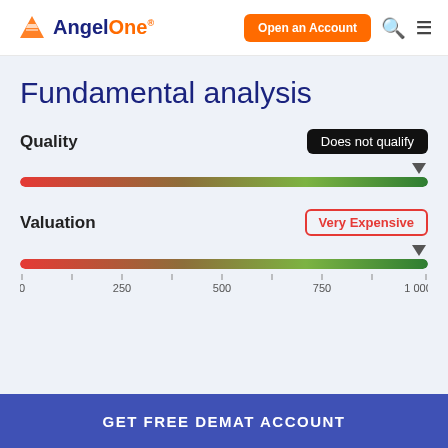[Figure (logo): AngelOne logo with orange triangle and text]
Open an Account
Fundamental analysis
Quality
Does not qualify
[Figure (infographic): Quality gradient slider bar from red to green with arrow indicator at right end]
Valuation
Very Expensive
[Figure (infographic): Valuation gradient slider bar from red to green with arrow indicator at right end]
0  250  500  750  1 000
GET FREE DEMAT ACCOUNT